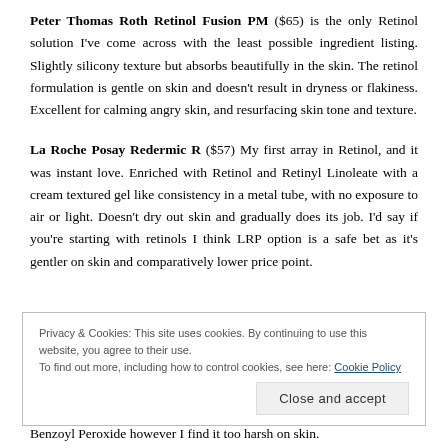Peter Thomas Roth Retinol Fusion PM ($65) is the only Retinol solution I've come across with the least possible ingredient listing. Slightly silicony texture but absorbs beautifully in the skin. The retinol formulation is gentle on skin and doesn't result in dryness or flakiness. Excellent for calming angry skin, and resurfacing skin tone and texture.
La Roche Posay Redermic R ($57) My first array in Retinol, and it was instant love. Enriched with Retinol and Retinyl Linoleate with a cream textured gel like consistency in a metal tube, with no exposure to air or light. Doesn't dry out skin and gradually does its job. I'd say if you're starting with retinols I think LRP option is a safe bet as it's gentler on skin and comparatively lower price point.
Privacy & Cookies: This site uses cookies. By continuing to use this website, you agree to their use. To find out more, including how to control cookies, see here: Cookie Policy
Close and accept
Benzoyl Peroxide however I find it too harsh on skin.